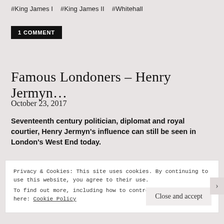#King James I   #King James II   #Whitehall
1 COMMENT
Famous Londoners – Henry Jermyn…
October 23, 2017
Seventeenth century politician, diplomat and royal courtier, Henry Jermyn's influence can still be seen in London's West End today.
Privacy & Cookies: This site uses cookies. By continuing to use this website, you agree to their use. To find out more, including how to control cookies, see here: Cookie Policy
Close and accept